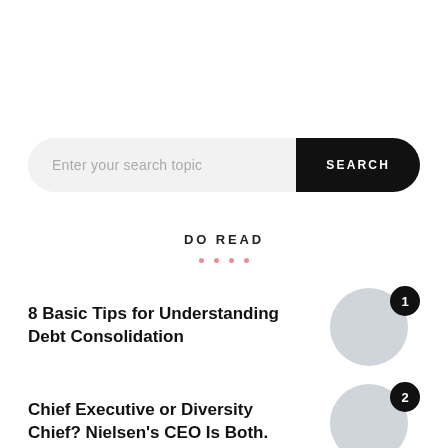[Figure (screenshot): Search bar with placeholder text 'Enter your search topic' and a black SEARCH button]
DO READ
8 Basic Tips for Understanding Debt Consolidation
Chief Executive or Diversity Chief? Nielsen's CEO Is Both.